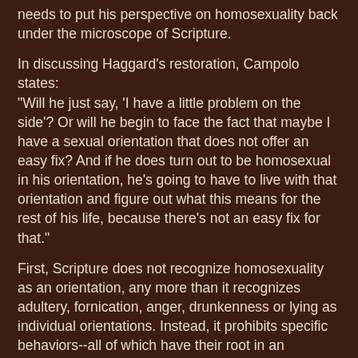needs to put his perspective on homosexuality back under the microscope of Scripture.
In discussing Haggard's restoration, Campolo states: "Will he just say, 'I have a little problem on the side'? Or will he begin to face the fact that maybe I have a sexual orientation that does not offer an easy fix? And if he does turn out to be homosexual in his orientation, he's going to have to live with that orientation and figure out what this means for the rest of his life, because there's not an easy fix for that."
First, Scripture does not recognize homosexuality as an orientation, any more than it recognizes adultery, fornication, anger, drunkenness or lying as individual orientations. Instead, it prohibits specific behaviors--all of which have their root in an "orientation" that every human being was born with: sin. This orientation (or "sin nature," as theologians would put it) leads us to reach for a bottle, a gun, a syringe or someone else's spouse in our relentless defiance of God's law. Whether by nature, nurture, genetics or life choices, some of us are more inclined to certain sins, but wo